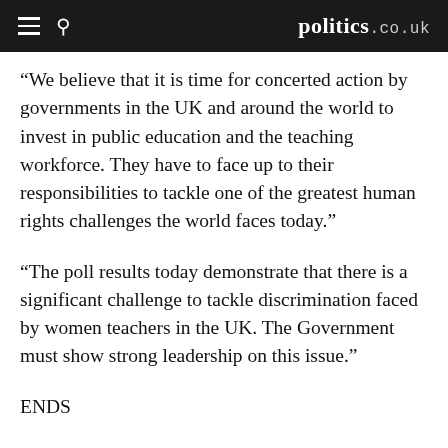politics.co.uk
“We believe that it is time for concerted action by governments in the UK and around the world to invest in public education and the teaching workforce. They have to face up to their responsibilities to tackle one of the greatest human rights challenges the world faces today.”
“The poll results today demonstrate that there is a significant challenge to tackle discrimination faced by women teachers in the UK. The Government must show strong leadership on this issue.”
ENDS
Notes to editors